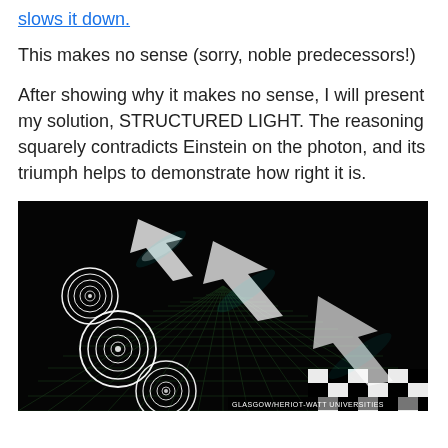slows it down.
This makes no sense (sorry, noble predecessors!)
After showing why it makes no sense, I will present my solution, STRUCTURED LIGHT. The reasoning squarely contradicts Einstein on the photon, and its triumph helps to demonstrate how right it is.
[Figure (illustration): Artistic rendering of structured light beams traveling across a black grid surface with concentric ring patterns (vortex beams) and bright arrow-shaped light pulses, with a checkerboard pattern in the lower right corner. Credit: GLASGOW/HERIOT-WATT UNIVERSITIES]